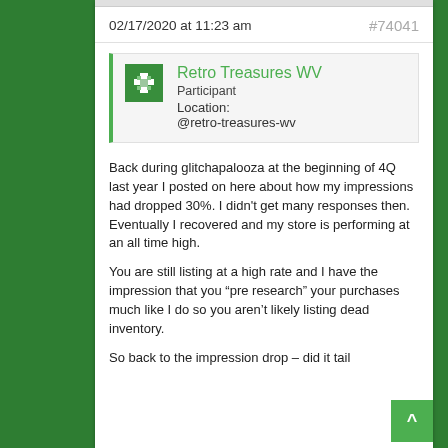02/17/2020 at 11:23 am  #74041
Retro Treasures WV
Participant
Location:
@retro-treasures-wv
Back during glitchapalooza at the beginning of 4Q last year I posted on here about how my impressions had dropped 30%. I didn't get many responses then. Eventually I recovered and my store is performing at an all time high.
You are still listing at a high rate and I have the impression that you “pre research” your purchases much like I do so you aren’t likely listing dead inventory.
So back to the impression drop – did it tail